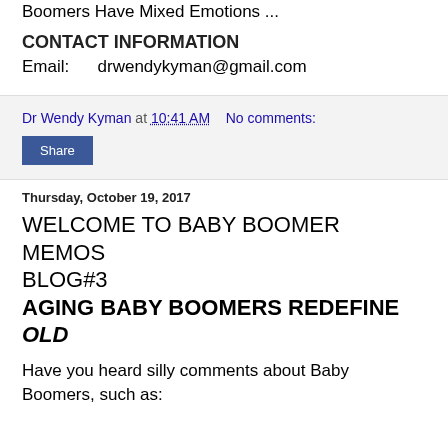Boomers Have Mixed Emotions ...
CONTACT INFORMATION
Email:      drwendykyman@gmail.com
Dr Wendy Kyman at 10:41 AM   No comments:
Share
Thursday, October 19, 2017
WELCOME TO BABY BOOMER MEMOS BLOG#3
AGING BABY BOOMERS REDEFINE OLD
Have you heard silly comments about Baby Boomers, such as: